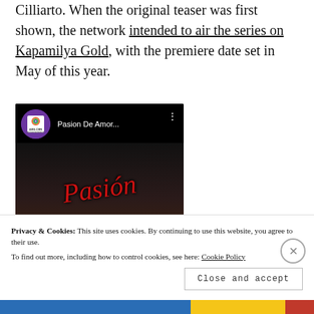Cilliarto. When the original teaser was first shown, the network intended to air the series on Kapamilya Gold, with the premiere date set in May of this year.
[Figure (screenshot): YouTube video thumbnail showing 'Pasion De Amor...' with ABS-CBN Entertainment channel logo on dark background with red cursive Pasion text]
Privacy & Cookies: This site uses cookies. By continuing to use this website, you agree to their use. To find out more, including how to control cookies, see here: Cookie Policy
Close and accept